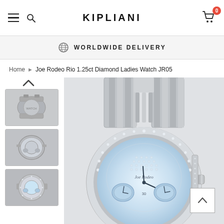KIPLIANI
WORLDWIDE DELIVERY
Home > Joe Rodeo Rio 1.25ct Diamond Ladies Watch JR05
[Figure (photo): Thumbnail view of the back of a silver diamond-encrusted watch on a bracelet band]
[Figure (photo): Thumbnail view of the side/face of a silver diamond watch]
[Figure (photo): Thumbnail front view of a round diamond-encrusted ladies watch with light blue dial]
[Figure (photo): Main large product image: Joe Rodeo Rio 1.25ct Diamond Ladies Watch JR05 — close-up showing the diamond-studded bezel, mother-of-pearl face with subdials, and silver metal bracelet band]